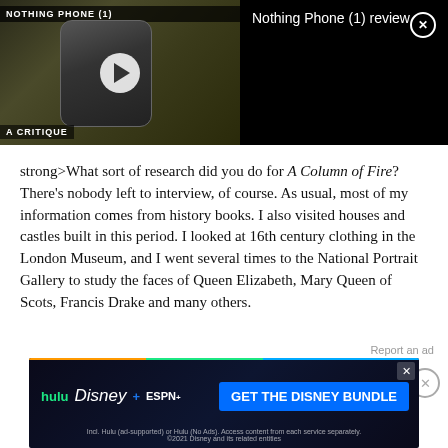[Figure (screenshot): Video player showing Nothing Phone (1) review. Left side shows phone thumbnail with play button, title 'NOTHING PHONE (1)' and subtitle 'A CRITIQUE'. Right side shows black panel with text 'Nothing Phone (1) review' and a close X button.]
strong>What sort of research did you do for A Column of Fire?
There's nobody left to interview, of course. As usual, most of my information comes from history books. I also visited houses and castles built in this period. I looked at 16th century clothing in the London Museum, and I went several times to the National Portrait Gallery to study the faces of Queen Elizabeth, Mary Queen of Scots, Francis Drake and many others.
[Figure (screenshot): Advertisement banner for Disney Bundle featuring Hulu, Disney+, and ESPN+ logos with blue 'GET THE DISNEY BUNDLE' call-to-action button. Fine print: 'Incl. Hulu (ad-supported) or Hulu (No Ads). Access content from each service separately. ©2021 Disney and its related entities']